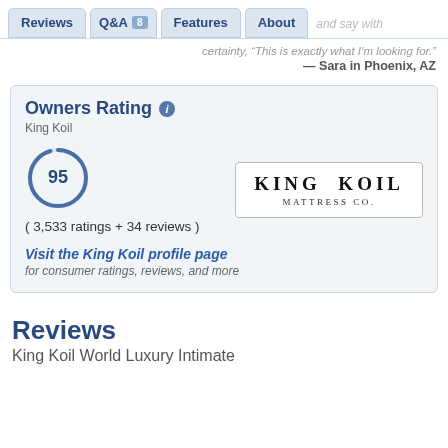Reviews | Q&A 8 | Features | About
certainty, "This is exactly what I'm looking for."
— Sara in Phoenix, AZ
Owners Rating
King Koil
[Figure (other): Score circle showing 95]
( 3,533 ratings + 34 reviews )
[Figure (logo): King Koil Mattress Co. logo]
Visit the King Koil profile page
for consumer ratings, reviews, and more
Reviews
King Koil World Luxury Intimate